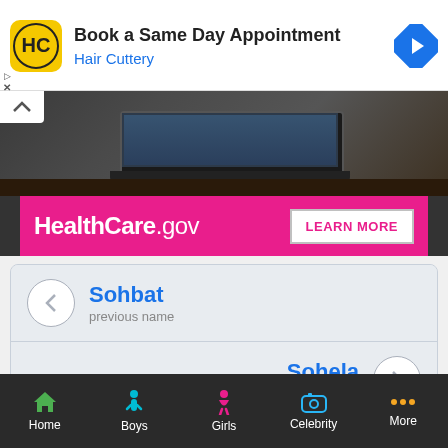[Figure (screenshot): Hair Cuttery ad banner with logo, title 'Book a Same Day Appointment', brand name 'Hair Cuttery', and navigation arrow icon]
[Figure (screenshot): Photo strip showing desk/laptop scene with HealthCare.gov pink banner ad saying 'LEARN MORE']
Sohbat
previous name
Sohela
next name
[Figure (screenshot): Bottom navigation bar with Home, Boys, Girls, Celebrity, More icons]